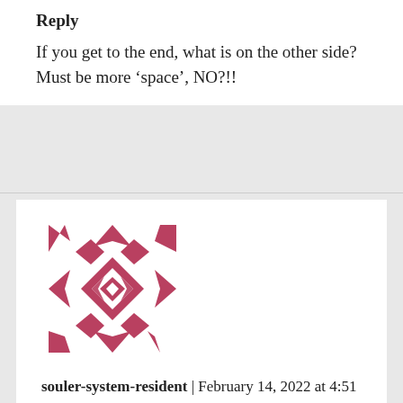Reply
If you get to the end, what is on the other side? Must be more ‘space’, NO?!!
[Figure (illustration): Red geometric avatar icon with diamond and arrow patterns for user souler-system-resident]
souler-system-resident | February 14, 2022 at 4:51 pm | Reply
Instead of ‘dark’ matter, they should call it a-way-to-make-cosmologists-equations-work-out matter
Isn’t it amazing the way scientists always seem to say THIS is the way it is. They